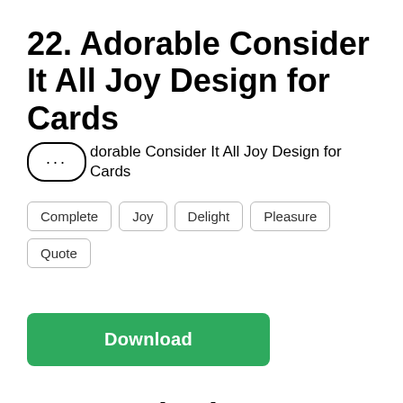22. Adorable Consider It All Joy Design for Cards
Adorable Consider It All Joy Design for Cards
Complete
Joy
Delight
Pleasure
Quote
Download
23. Beach Please Design for Cards